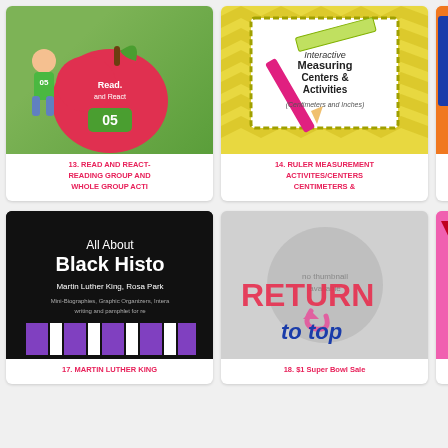[Figure (screenshot): Read and React reading group activity cover - green background with apple and cartoon child]
13. READ AND REACT- READING GROUP AND WHOLE GROUP ACTI
[Figure (screenshot): Interactive Measuring Centers & Activities (Centimeters and Inches) cover - yellow chevron background with pencil and ruler]
14. RULER MEASUREMENT ACTIVITES/CENTERS CENTIMETERS &
[Figure (screenshot): SchoolMart Go Gr Shop - partial orange cover with girl]
15. GROCER... MONEY CE... WHOLE GR...
[Figure (screenshot): All About Black History - Martin Luther King, Rosa Park... cover with black background and purple stripes]
17. MARTIN LUTHER KING
[Figure (screenshot): Return to top overlay with arrow on gray circular background - no thumbnail available]
18. $1 Super Bowl Sale
[Figure (screenshot): Valentine Beginning and Letters activity cover - pink background with bunting]
19. VALENTI...